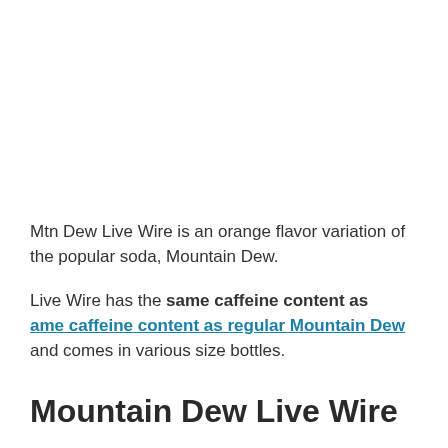Mtn Dew Live Wire is an orange flavor variation of the popular soda, Mountain Dew.
Live Wire has the same caffeine content as ame caffeine content as regular Mountain Dew and comes in various size bottles.
Mountain Dew Live Wire